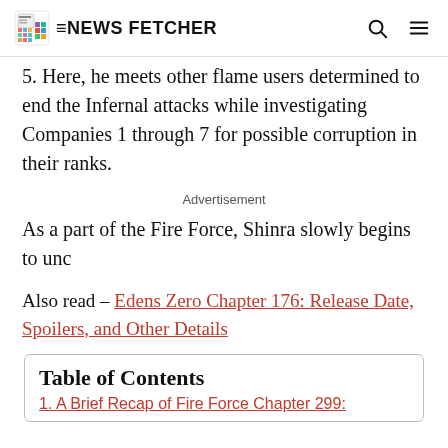THE NEWS FETCHER
5. Here, he meets other flame users determined to end the Infernal attacks while investigating Companies 1 through 7 for possible corruption in their ranks.
Advertisement
As a part of the Fire Force, Shinra slowly begins to unc
Also read – Edens Zero Chapter 176: Release Date, Spoilers, and Other Details
Table of Contents
1. A Brief Recap of Fire Force Chapter 299: